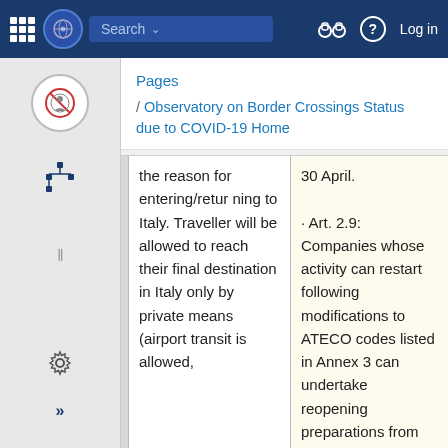Search | Log in | Observatory on Border Crossings Status due to COVID-19
Pages
/ Observatory on Border Crossings Status due to COVID-19 Home
| the reason for entering/returning to Italy. Traveller will be allowed to reach their final destination in Italy only by private means (airport transit is allowed, | 30 April.
· Art. 2.9: Companies whose activity can restart following modifications to ATECO codes listed in Annex 3 can undertake reopening preparations from 27 April.
· Art. 3.2: The |